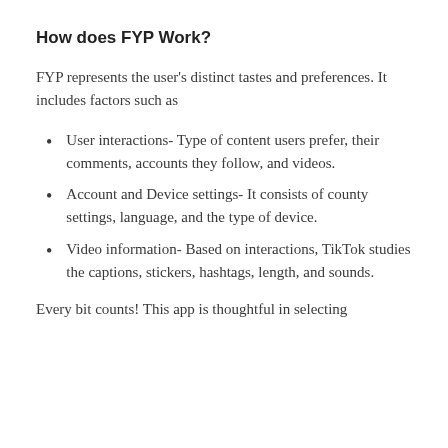How does FYP Work?
FYP represents the user's distinct tastes and preferences. It includes factors such as
User interactions- Type of content users prefer, their comments, accounts they follow, and videos.
Account and Device settings- It consists of county settings, language, and the type of device.
Video information- Based on interactions, TikTok studies the captions, stickers, hashtags, length, and sounds.
Every bit counts! This app is thoughtful in selecting